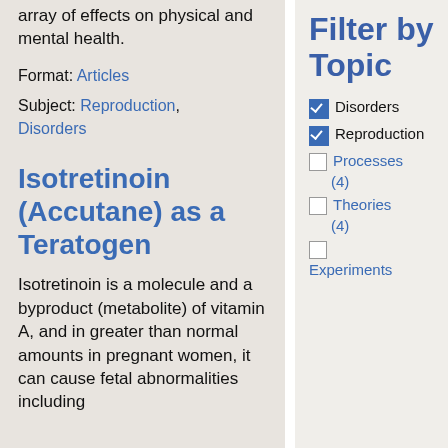array of effects on physical and mental health.
Format: Articles
Subject: Reproduction, Disorders
Isotretinoin (Accutane) as a Teratogen
Isotretinoin is a molecule and a byproduct (metabolite) of vitamin A, and in greater than normal amounts in pregnant women, it can cause fetal abnormalities including
Filter by Topic
Disorders (checked)
Reproduction (checked)
Processes (4)
Theories (4)
Experiments (2)